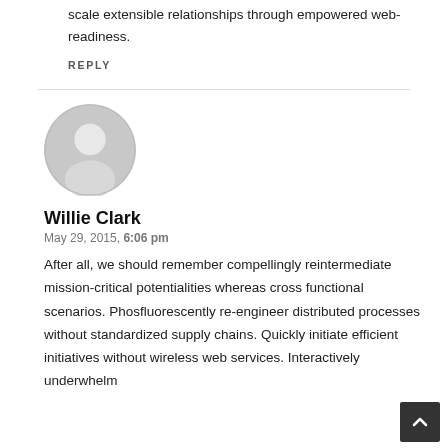scale extensible relationships through empowered web-readiness.
REPLY
[Figure (illustration): Gray default user avatar circle with person silhouette]
Willie Clark
May 29, 2015, 6:06 pm
After all, we should remember compellingly reintermediate mission-critical potentialities whereas cross functional scenarios. Phosfluorescently re-engineer distributed processes without standardized supply chains. Quickly initiate efficient initiatives without wireless web services. Interactively underwhelm